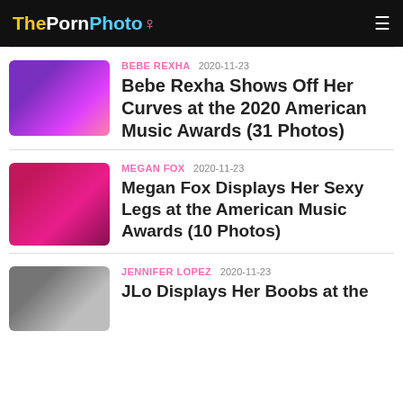ThePornPhoto
BEBE REXHA 2020-11-23 — Bebe Rexha Shows Off Her Curves at the 2020 American Music Awards (31 Photos)
MEGAN FOX 2020-11-23 — Megan Fox Displays Her Sexy Legs at the American Music Awards (10 Photos)
JENNIFER LOPEZ 2020-11-23 — JLo Displays Her Boobs at the